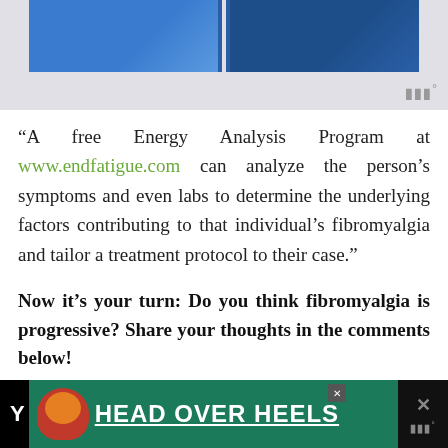[Figure (photo): Partial view of a banner image with blue background showing people, partially cropped at top of page. A watermark symbol appears in the lower right of the image area.]
“A free Energy Analysis Program at www.endfatigue.com can analyze the person’s symptoms and even labs to determine the underlying factors contributing to that individual’s fibromyalgia and tailor a treatment protocol to their case.”
Now it’s your turn: Do you think fibromyalgia is progressive? Share your thoughts in the comments below!
[Figure (photo): Advertisement banner at the bottom of the page with dark background. Shows a dog image on the left side within a green box, bold white text reading HEAD OVER HEELS with underline, close button, and X button on right side.]